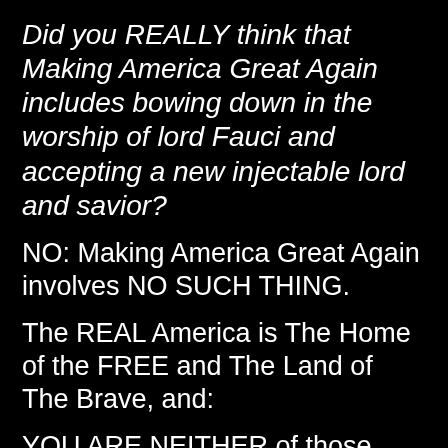Did you REALLY think that Making America Great Again includes bowing down in the worship of lord Fauci and accepting a new injectable lord and savior?
NO: Making America Great Again involves NO SUCH THING.
The REAL America is The Home of the FREE and The Land of The Brave, and:
YOU ARE NEITHER of those things.
WHAT ABOUT THE KIDS.